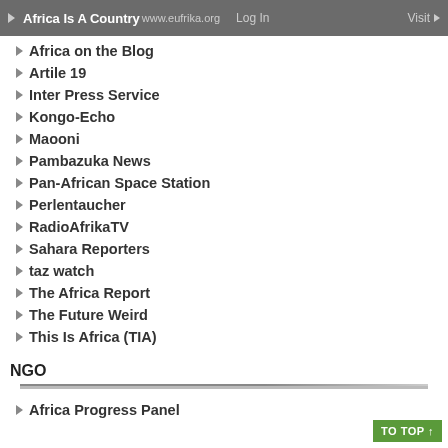Africa Is A Country | www.eufrika.org | Log In | Visit
Africa on the Blog
Artile 19
Inter Press Service
Kongo-Echo
Maooni
Pambazuka News
Pan-African Space Station
Perlentaucher
RadioAfrikaTV
Sahara Reporters
taz watch
The Africa Report
The Future Weird
This Is Africa (TIA)
NGO
Africa Progress Panel